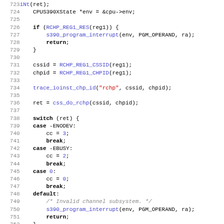[Figure (screenshot): Source code listing in C, lines 724-755, showing a function body with conditional checks, switch statement, and function calls related to S390 CPU channel path handling.]